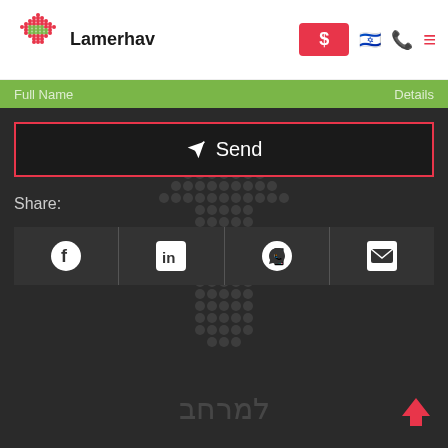Lamerhav
[Figure (logo): Lamerhav logo with pixelated house icon in red and green, next to text Lamerhav]
Full Name | Details
Send
Share:
[Figure (infographic): Social share buttons row: Facebook, LinkedIn, WhatsApp, Email icons on dark background]
[Figure (logo): Lamerhav watermark dotted arrow logo in background, with Hebrew text למרחב below]